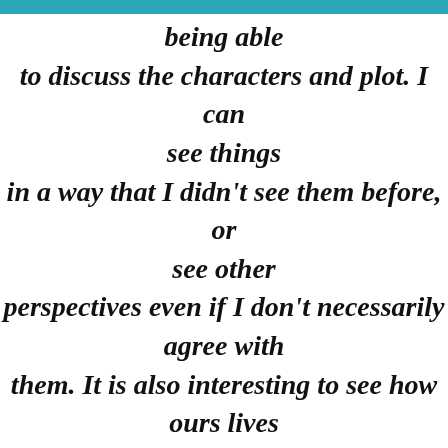being able to discuss the characters and plot. I can see things in a way that I didn't see them before, or see other perspectives even if I don't necessarily agree with them. It is also interesting to see how ours lives have shaped how we see things. Because of my age, I am often the one with a divergent opinion because I am of a different generation. No one criticizes